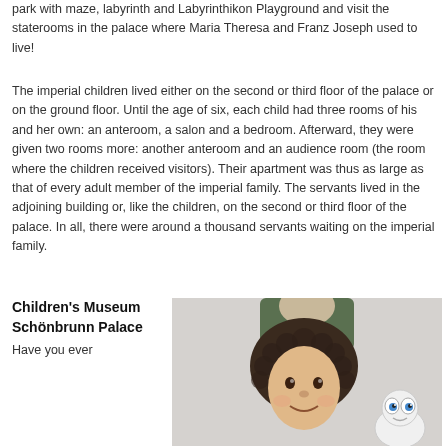park with maze, labyrinth and Labyrinthikon Playground and visit the staterooms in the palace where Maria Theresa and Franz Joseph used to live!
The imperial children lived either on the second or third floor of the palace or on the ground floor. Until the age of six, each child had three rooms of his and her own: an anteroom, a salon and a bedroom. Afterward, they were given two rooms more: another anteroom and an audience room (the room where the children received visitors). Their apartment was thus as large as that of every adult member of the imperial family. The servants lived in the adjoining building or, like the children, on the second or third floor of the palace. In all, there were around a thousand servants waiting on the imperial family.
Children's Museum Schönbrunn Palace
Have you ever
[Figure (photo): A child wearing a curly dark wig/costume, smiling at the camera, with a cartoon character visible in the lower right corner and another figure in the background.]